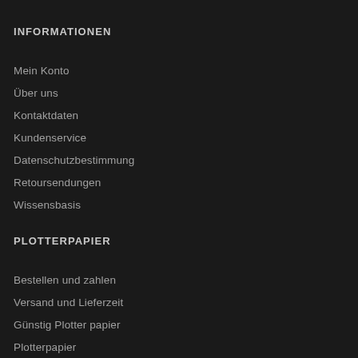INFORMATIONEN
Mein Konto
Über uns
Kontaktdaten
Kundenservice
Datenschutzbestimmung
Retoursendungen
Wissensbasis
PLOTTERPAPIER
Bestellen und zahlen
Versand und Lieferzeit
Günstig Plotter papier
Plotterpapier
A0 Faltermaschine kaufen